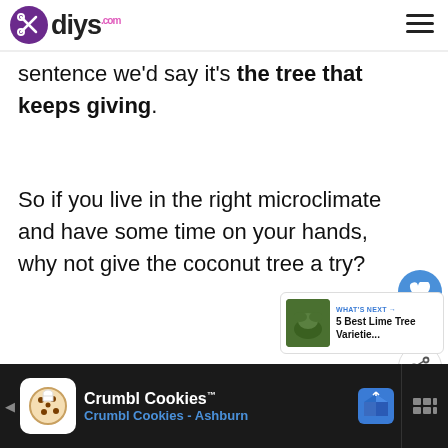diys.com
sentence we'd say it's the tree that keeps giving.
So if you live in the right microclimate and have some time on your hands, why not give the coconut tree a try?
[Figure (screenshot): What's Next panel showing thumbnail of lime tree with text '5 Best Lime Tree Varietie...']
[Figure (screenshot): Advertisement banner for Crumbl Cookies - Crumbl Cookies Ashburn]